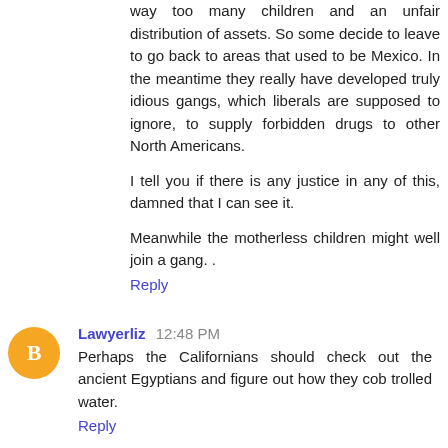way too many children and an unfair distribution of assets. So some decide to leave to go back to areas that used to be Mexico. In the meantime they really have developed truly idious gangs, which liberals are supposed to ignore, to supply forbidden drugs to other North Americans.
I tell you if there is any justice in any of this, damned that I can see it.
Meanwhile the motherless children might well join a gang. .
Reply
Lawyerliz  12:48 PM
Perhaps the Californians should check out the ancient Egyptians and figure out how they cob trolled water.
Reply
prairiedog  1:24 PM
Hello.